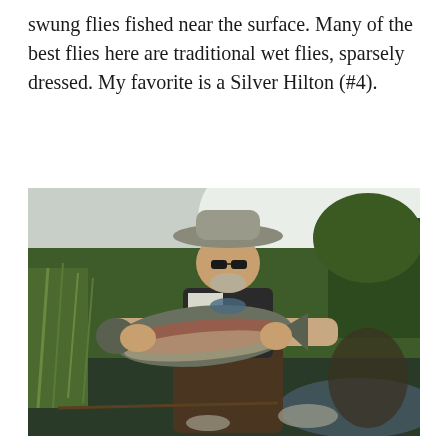swung flies fished near the surface. Many of the best flies here are traditional wet flies, sparsely dressed. My favorite is a Silver Hilton (#4).
[Figure (photo): A man wearing a wide-brimmed grey hat and sunglasses, dressed in a fishing vest and waders, kneeling beside a river or stream and holding up a large steelhead or rainbow trout with both hands. Green grassy riverbank and trees visible in the background.]